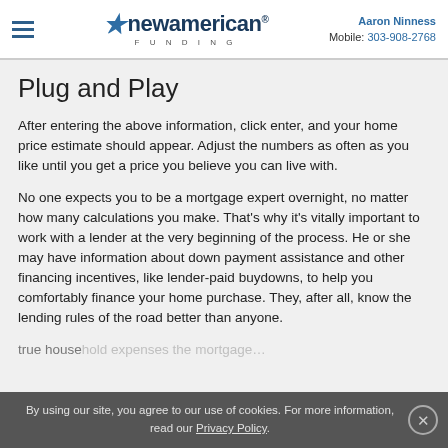Aaron Ninness Mobile: 303-908-2768
Plug and Play
After entering the above information, click enter, and your home price estimate should appear. Adjust the numbers as often as you like until you get a price you believe you can live with.
No one expects you to be a mortgage expert overnight, no matter how many calculations you make. That’s why it’s vitally important to work with a lender at the very beginning of the process. He or she may have information about down payment assistance and other financing incentives, like lender-paid buydowns, to help you comfortably finance your home purchase. They, after all, know the lending rules of the road better than anyone.
By using our site, you agree to our use of cookies. For more information, read our Privacy Policy.